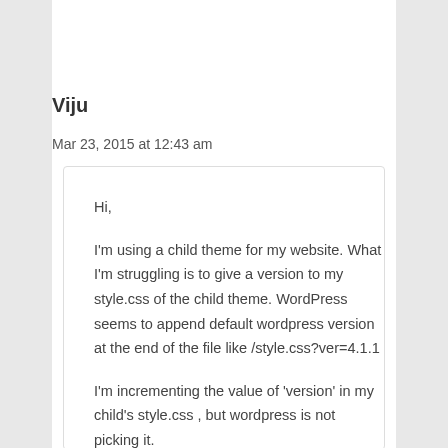Viju
Mar 23, 2015 at 12:43 am
Hi,

I'm using a child theme for my website. What I'm struggling is to give a version to my style.css of the child theme. WordPress seems to append default wordpress version at the end of the file like /style.css?ver=4.1.1

I'm incrementing the value of 'version' in my child's style.css , but wordpress is not picking it.

Because of this my changes to the child